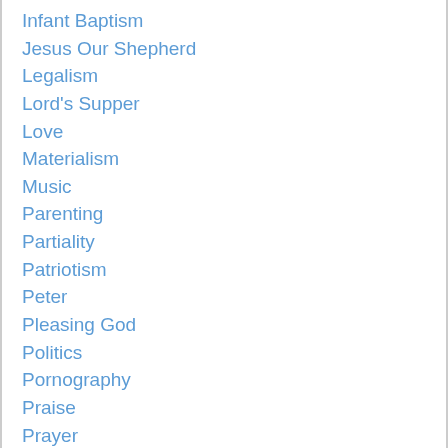Infant Baptism
Jesus Our Shepherd
Legalism
Lord's Supper
Love
Materialism
Music
Parenting
Partiality
Patriotism
Peter
Pleasing God
Politics
Pornography
Praise
Prayer
Preachers And Teachers
Priesthood
Return Of Jesus
Sacrifice
Same-sex "marriage"